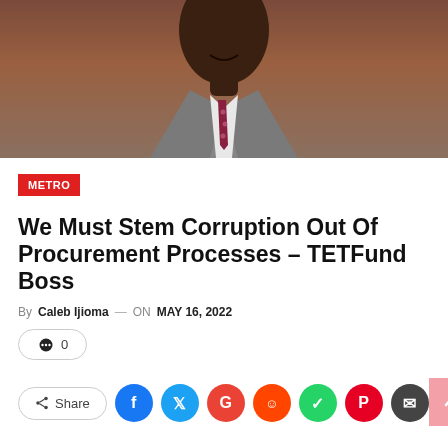[Figure (photo): Photograph of a man in a grey suit and dark tie with a patterned design, photographed from chest up, brown/reddish background]
METRO
We Must Stem Corruption Out Of Procurement Processes – TETFund Boss
By Caleb Ijioma — ON MAY 16, 2022
0
Share